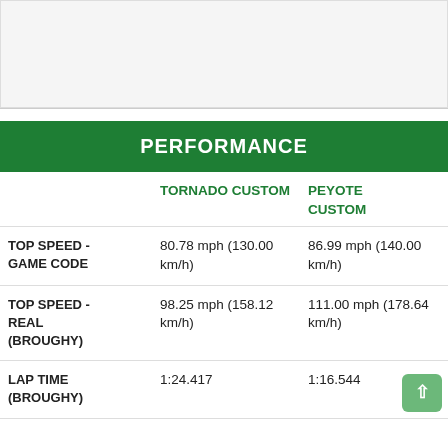[Figure (other): Top image area, light gray placeholder]
PERFORMANCE
|  | TORNADO CUSTOM | PEYOTE CUSTOM |
| --- | --- | --- |
| TOP SPEED - GAME CODE | 80.78 mph (130.00 km/h) | 86.99 mph (140.00 km/h) |
| TOP SPEED - REAL (BROUGHY) | 98.25 mph (158.12 km/h) | 111.00 mph (178.64 km/h) |
| LAP TIME (BROUGHY) | 1:24.417 | 1:16.544 |